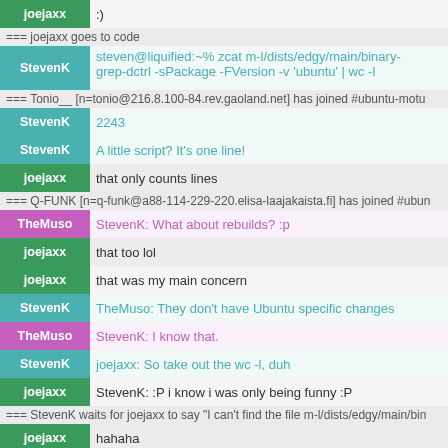joejaxx  :)
=== joejaxx goes to code
StevenK  steven@liquified:~% zcat m-l/dists/edgy/main/binary- grep-dctrl -sPackage -FVersion -v 'ubuntu' | wc -l
=== Tonio__ [n=tonio@216.8.100-84.rev.gaoland.net] has joined #ubuntu-motu
StevenK  2243
StevenK  A little script? It's one line!
joejaxx  that only counts lines
=== Q-FUNK [n=q-funk@a88-114-229-220.elisa-laajakaista.fi] has joined #ubun
TheMuso  StevenK: What about rebuilds? :p
joejaxx  that too lol
joejaxx  that was my main concern
StevenK  TheMuso: They don't have Ubuntu specific changes
TheMuso  StevenK: I know that.
StevenK  joejaxx: So take out the wc -l, duh
joejaxx  StevenK: :P i know i was only being funny :P
=== StevenK waits for joejaxx to say "I can't find the file m-l/dists/edgy/main/bin
joejaxx  hahaha
joejaxx  maybe if i was up a couple more days
=== cassidy [n=cassidy@host-213-189-171-21.brutele.be] has joined #ubuntu-mo
joejaxx  StevenK: the reason i was going to script it is because part of a large script